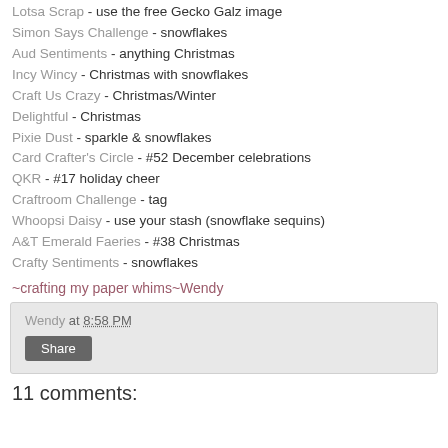Lotsa Scrap - use the free Gecko Galz image
Simon Says Challenge - snowflakes
Aud Sentiments - anything Christmas
Incy Wincy - Christmas with snowflakes
Craft Us Crazy - Christmas/Winter
Delightful - Christmas
Pixie Dust - sparkle & snowflakes
Card Crafter's Circle - #52 December celebrations
QKR - #17 holiday cheer
Craftroom Challenge - tag
Whoopsi Daisy - use your stash (snowflake sequins)
A&T Emerald Faeries - #38 Christmas
Crafty Sentiments - snowflakes
~crafting my paper whims~Wendy
Wendy at 8:58 PM
Share
11 comments: